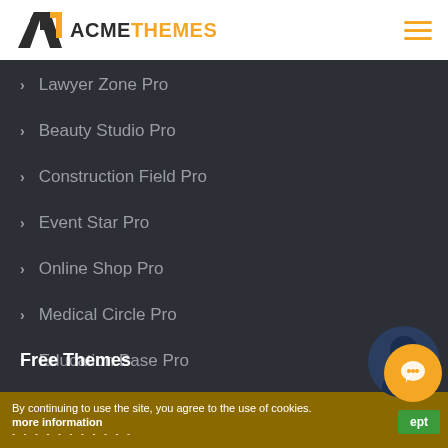ACMETHEMES
Lawyer Zone Pro
Beauty Studio Pro
Construction Field Pro
Event Star Pro
Online Shop Pro
Medical Circle Pro
Education Base Pro
Free Themes
Lawyer Zone
Beauty Studio
By continuing to use the site, you agree to the use of cookies. more information
Accept